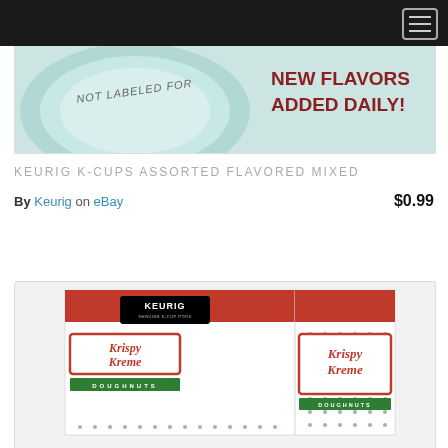[Figure (photo): Top banner image of a K-Cup lid with text 'NOT LABELED FOR' visible and overlay text 'NEW FLAVORS ADDED DAILY!' in red/brown bold text]
KEURIG K-CUPS ASSORTED FLAVORED MIXED
By Keurig on eBay  $0.99
[Figure (photo): Krispy Kreme Doughnuts Keurig K-Cup box with white polka-dot design, red stripe, black Keurig logo label, and Krispy Kreme branding in red script on white with green border]